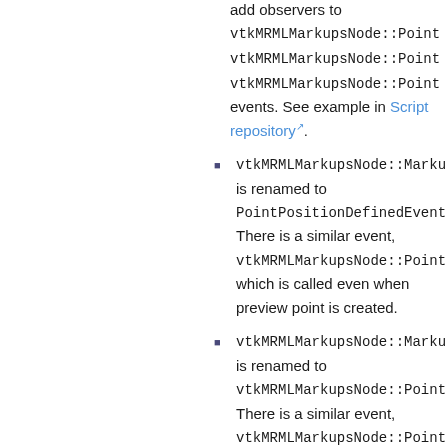add observers to vtkMRMLMarkupsNode::Point vtkMRMLMarkupsNode::Point vtkMRMLMarkupsNode::Point events. See example in Script repository.
vtkMRMLMarkupsNode::Marku is renamed to PointPositionDefinedEvent. There is a similar event, vtkMRMLMarkupsNode::Point which is called even when preview point is created.
vtkMRMLMarkupsNode::Marku is renamed to vtkMRMLMarkupsNode::Point. There is a similar event, vtkMRMLMarkupsNode::Point which is called even when preview point is removed.